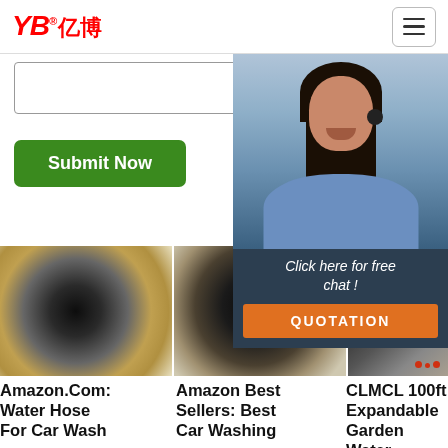[Figure (logo): YB亿博 logo in red with registered trademark symbol]
[Figure (screenshot): Hamburger menu button in top right]
[Figure (infographic): Search/contact form area with input box and 24/7 Online badge]
[Figure (photo): Submit Now green button]
[Figure (photo): 24/7 Online chat widget with customer service rep photo, Click here for free chat text, and QUOTATION orange button]
[Figure (photo): Close-up of black rubber water hose cross-section held in hand]
[Figure (photo): Close-up of large black rubber hose end held in hand]
[Figure (photo): Close-up of heavy-duty industrial hose bundle]
Amazon.Com: Water Hose For Car Wash
Amazon Best Sellers: Best Car Washing
CLMCL 100ft Expandable Garden Water